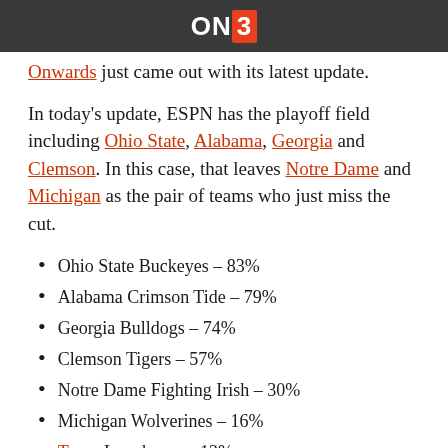ON3
…just came out with its latest update.
In today's update, ESPN has the playoff field including Ohio State, Alabama, Georgia and Clemson. In this case, that leaves Notre Dame and Michigan as the pair of teams who just miss the cut.
Ohio State Buckeyes – 83%
Alabama Crimson Tide – 79%
Georgia Bulldogs – 74%
Clemson Tigers – 57%
Notre Dame Fighting Irish – 30%
Michigan Wolverines – 16%
Texas Longhorns – 13%